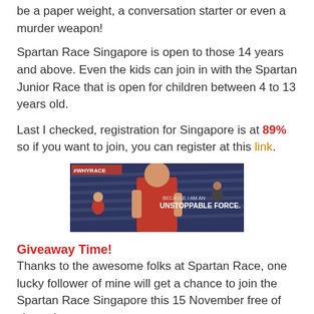be a paper weight, a conversation starter or even a murder weapon!
Spartan Race Singapore is open to those 14 years and above. Even the kids can join in with the Spartan Junior Race that is open for children between 4 to 13 years old.
Last I checked, registration for Singapore is at 89% so if you want to join, you can register at this link.
[Figure (photo): Woman in red athletic tank top running with text overlay '#WHYRACE' and 'BECAUSE I AM AN UNSTOPPABLE FORCE.' with stadium seating in background]
Giveaway Time!
Thanks to the awesome folks at Spartan Race, one lucky follower of mine will get a chance to join the Spartan Race Singapore this 15 November free of charge!
All you need to do is: